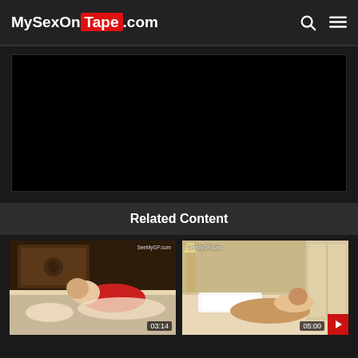MySexOnTape.com
[Figure (screenshot): Black video player area, no content visible]
Related Content
[Figure (photo): Video thumbnail 1 with watermark SeeMyGF.com and duration 03:14]
[Figure (photo): Video thumbnail 2 with watermark SeeMyGF.com and duration 05:00]